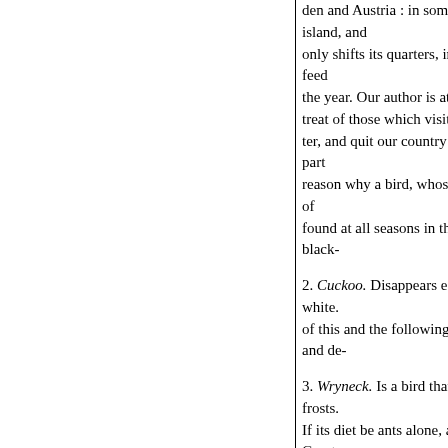den and Austria : in some island, and only shifts its quarters, in d feed the year. Our author is at a treat of those which visit u ter, and quit our country in part reason why a bird, whose f of found at all seasons in this black-
2. Cuckoo. Disappears ea white. of this and the following b and de-
3. Wryneck. Is a bird that frosts. If its diet be ants alone, as Great its migration is very eviden those